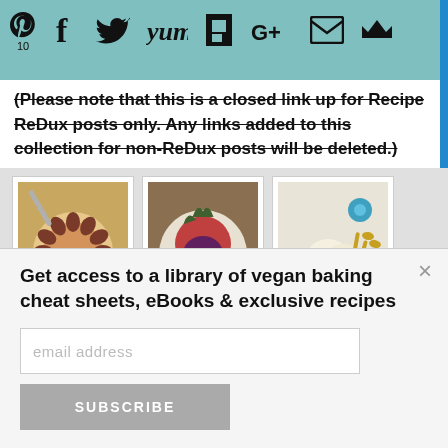[Figure (screenshot): Social media sharing bar with icons: Pinterest (10), Facebook, Twitter, Yummly, Flipboard, Google+, Email, Bloglovin on teal background]
(Please note that this is a closed link up for Recipe ReDux posts only. Any links added to this collection for non-ReDux posts will be deleted.)
[Figure (photo): Fig Ricotta tart on wooden board]
1. Fig Ricotta and
[Figure (photo): Creative salad in white bowl on wooden table]
2. Creative Salad
[Figure (photo): Pina Colada ice cream in yellow bowl with gold spoons and blue flower decoration]
3. Pina Colada Ice
Get access to a library of vegan baking cheat sheets, eBooks & exclusive recipes
email address
SUBSCRIBE